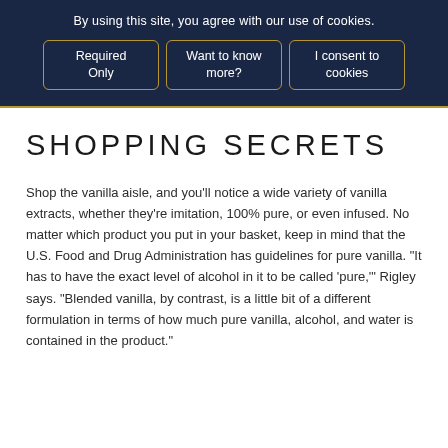By using this site, you agree with our use of cookies.
Required Only
Want to know more?
I consent to cookies
SHOPPING SECRETS
Shop the vanilla aisle, and you’ll notice a wide variety of vanilla extracts, whether they’re imitation, 100% pure, or even infused. No matter which product you put in your basket, keep in mind that the U.S. Food and Drug Administration has guidelines for pure vanilla. “It has to have the exact level of alcohol in it to be called ‘pure,’” Rigley says. “Blended vanilla, by contrast, is a little bit of a different formulation in terms of how much pure vanilla, alcohol, and water is contained in the product.”